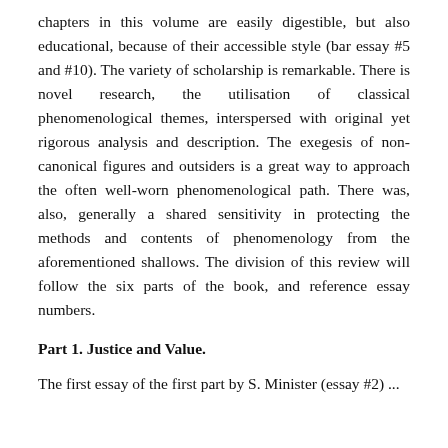chapters in this volume are easily digestible, but also educational, because of their accessible style (bar essay #5 and #10). The variety of scholarship is remarkable. There is novel research, the utilisation of classical phenomenological themes, interspersed with original yet rigorous analysis and description. The exegesis of non-canonical figures and outsiders is a great way to approach the often well-worn phenomenological path. There was, also, generally a shared sensitivity in protecting the methods and contents of phenomenology from the aforementioned shallows. The division of this review will follow the six parts of the book, and reference essay numbers.
Part 1. Justice and Value.
The first essay of the first part by S. Minister (essay #2) ...